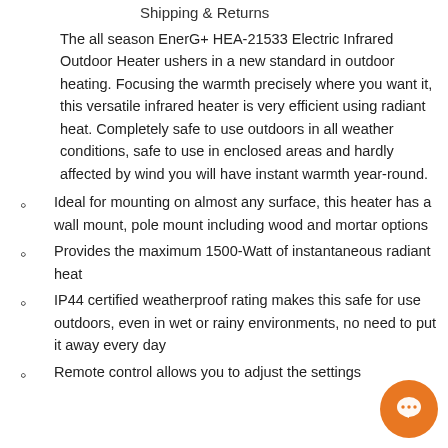Shipping & Returns
The all season EnerG+ HEA-21533 Electric Infrared Outdoor Heater ushers in a new standard in outdoor heating. Focusing the warmth precisely where you want it, this versatile infrared heater is very efficient using radiant heat. Completely safe to use outdoors in all weather conditions, safe to use in enclosed areas and hardly affected by wind you will have instant warmth year-round.
Ideal for mounting on almost any surface, this heater has a wall mount, pole mount including wood and mortar options
Provides the maximum 1500-Watt of instantaneous radiant heat
IP44 certified weatherproof rating makes this safe for use outdoors, even in wet or rainy environments, no need to put it away every day
Remote control allows you to adjust the settings from a distance